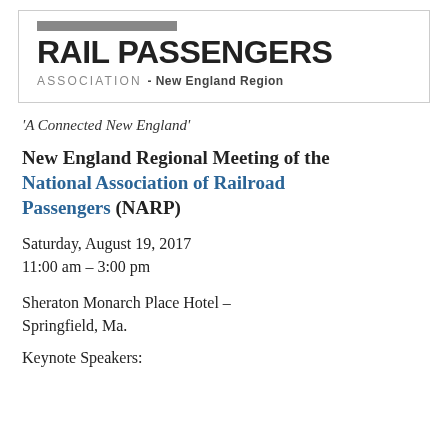[Figure (logo): Rail Passengers Association - New England Region logo with gray bar at top, large bold sans-serif 'RAIL PASSENGERS' text, and 'ASSOCIATION - New England Region' below in spaced caps]
'A Connected New England'
New England Regional Meeting of the National Association of Railroad Passengers (NARP)
Saturday, August 19, 2017
11:00 am – 3:00 pm
Sheraton Monarch Place Hotel – Springfield, Ma.
Keynote Speakers: